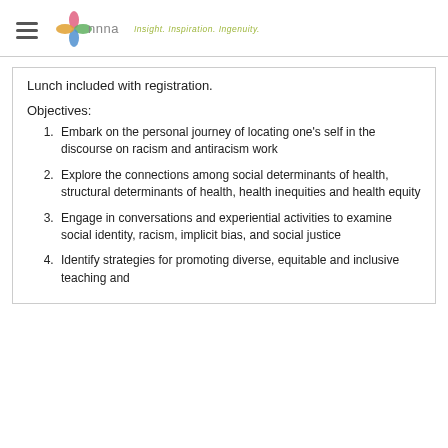NNNA Insight. Inspiration. Ingenuity.
Lunch included with registration.
Objectives:
Embark on the personal journey of locating one's self in the discourse on racism and antiracism work
Explore the connections among social determinants of health, structural determinants of health, health inequities and health equity
Engage in conversations and experiential activities to examine social identity, racism, implicit bias, and social justice
Identify strategies for promoting diverse, equitable and inclusive teaching and